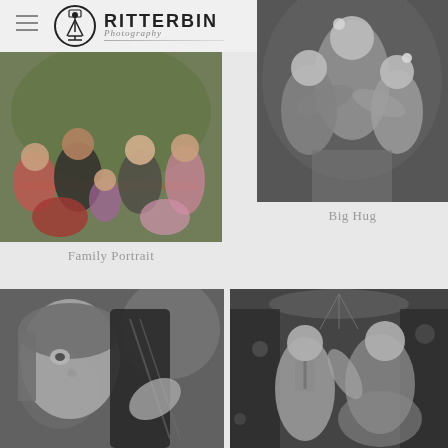Ritterbin Photography
[Figure (photo): Family portrait outdoors - family of five sitting together in a green wooded setting]
[Figure (photo): Black and white photo of three children hugging, with flowers in their hair]
Family Portrait
Big Hug
[Figure (photo): Black and white close-up photo of a young girl playing violin outdoors]
[Figure (photo): Black and white photo of people dancing at what appears to be a wedding reception]